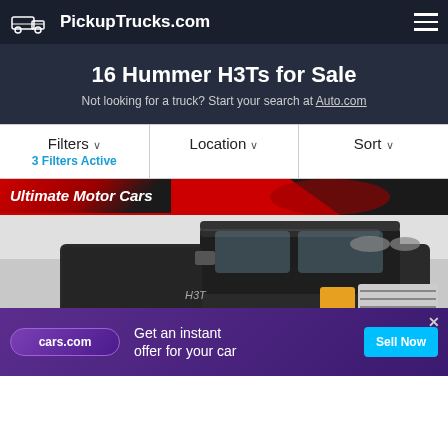PickupTrucks.com
16 Hummer H3Ts for Sale
Not looking for a truck? Start your search at Auto.com
Filters ∨ 3 Filters Active | Location ∨ | Sort ∨
[Figure (photo): Black Hummer H3T pickup truck displayed inside a dealership showroom with a red and black 'Ultimate Motor Cars' dealer banner at top]
Get an instant offer for your car — Sell Now (cars.com advertisement)